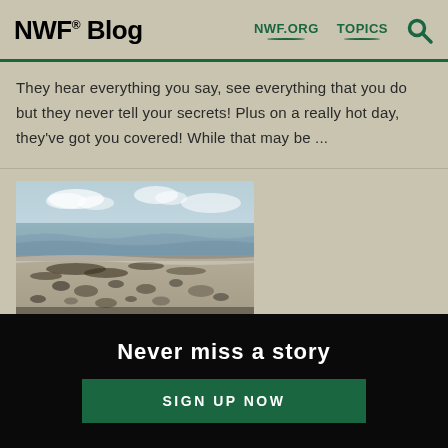NWF® Blog  NWF.ORG  TOPICS
They hear everything you say, see everything that you do but they never tell your secrets! Plus on a really hot day, they've got you covered! While that may be ...
[Figure (photo): Beach scene with debris, rocks, seaweed, and shells scattered on wet sand with ocean waves in the background under a partly cloudy sky]
Never miss a story
SIGN UP NOW